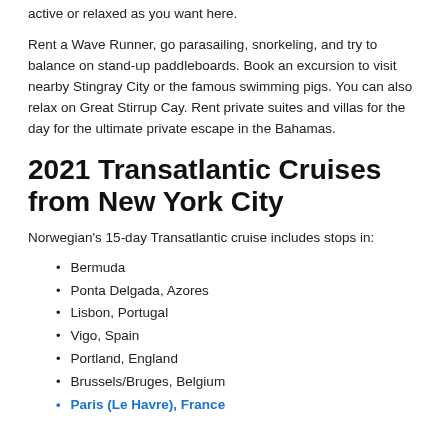active or relaxed as you want here.
Rent a Wave Runner, go parasailing, snorkeling, and try to balance on stand-up paddleboards. Book an excursion to visit nearby Stingray City or the famous swimming pigs. You can also relax on Great Stirrup Cay. Rent private suites and villas for the day for the ultimate private escape in the Bahamas.
2021 Transatlantic Cruises from New York City
Norwegian's 15-day Transatlantic cruise includes stops in:
Bermuda
Ponta Delgada, Azores
Lisbon, Portugal
Vigo, Spain
Portland, England
Brussels/Bruges, Belgium
Paris (Le Havre), France